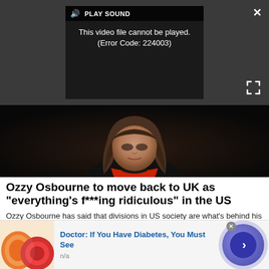[Figure (screenshot): Video player showing error message: 'This video file cannot be played. (Error Code: 224003)' with PLAY SOUND button, close X button, and expand button.]
[Figure (photo): Photo of Ozzy Osbourne wearing black jacket, red scarf, and gold chain necklace against dark background.]
Ozzy Osbourne to move back to UK as "everything's f***ing ridiculous" in the US
Ozzy Osbourne has said that divisions in US society are what's behind his move back home to the UK. Speakin...
[Figure (infographic): Advertisement banner: 'Doctor: If You Have Diabetes, You Must See' with source 'n/a', showing candy/fruit image on left and blue circular arrow button on right.]